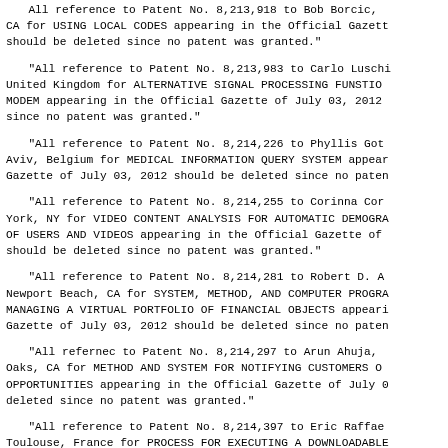All reference to Patent No. 8,213,918 to Bob Borcic, CA for USING LOCAL CODES appearing in the Official Gazette should be deleted since no patent was granted.
All reference to Patent No. 8,213,983 to Carlo Luschi, United Kingdom for ALTERNATIVE SIGNAL PROCESSING FUNSTIONS MODEM appearing in the Official Gazette of July 03, 2012 since no patent was granted.
All reference to Patent No. 8,214,226 to Phyllis Goti, Aviv, Belgium for MEDICAL INFORMATION QUERY SYSTEM appearing in the Official Gazette of July 03, 2012 should be deleted since no patent was granted.
All reference to Patent No. 8,214,255 to Corinna Corf, York, NY for VIDEO CONTENT ANALYSIS FOR AUTOMATIC DEMOGRA OF USERS AND VIDEOS appearing in the Official Gazette of should be deleted since no patent was granted.
All reference to Patent No. 8,214,281 to Robert D. An, Newport Beach, CA for SYSTEM, METHOD, AND COMPUTER PROGRA MANAGING A VIRTUAL PORTFOLIO OF FINANCIAL OBJECTS appearing in the Official Gazette of July 03, 2012 should be deleted since no patent was granted.
All refernec to Patent No. 8,214,297 to Arun Ahuja, e Oaks, CA for METHOD AND SYSTEM FOR NOTIFYING CUSTOMERS OR OPPORTUNITIES appearing in the Official Gazette of July 0 deleted since no patent was granted.
All reference to Patent No. 8,214,397 to Eric Raffael, Toulouse, France for PROCESS FOR EXECUTING A DOWNLOADABLE